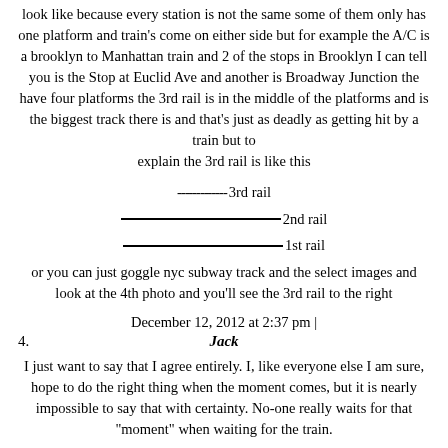look like because every station is not the same some of them only has one platform and train's come on either side but for example the A/C is a brooklyn to Manhattan train and 2 of the stops in Brooklyn I can tell you is the Stop at Euclid Ave and another is Broadway Junction the have four platforms the 3rd rail is in the middle of the platforms and is the biggest track there is and that's just as deadly as getting hit by a train but to explain the 3rd rail is like this
-------------3rd rail
___________________________2nd rail
___________________________1st rail
or you can just goggle nyc subway track and the select images and look at the 4th photo and you'll see the 3rd rail to the right
December 12, 2012 at 2:37 pm |
4. Jack
I just want to say that I agree entirely. I, like everyone else I am sure, hope to do the right thing when the moment comes, but it is nearly impossible to say that with certainty. No-one really waits for that "moment" when waiting for the train.